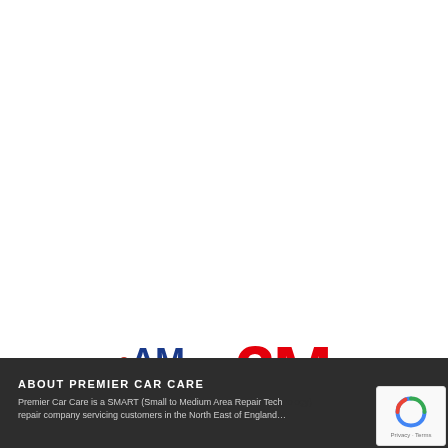[Figure (logo): AM Details logo — blue bold AM text with red dot, blue underline bar, and DETAILS text in blue]
[Figure (logo): 3M logo in bold red text]
ABOUT PREMIER CAR CARE
Premier Car Care is a SMART (Small to Medium Area Repair Technology) repair company servicing customers in the North East of England…